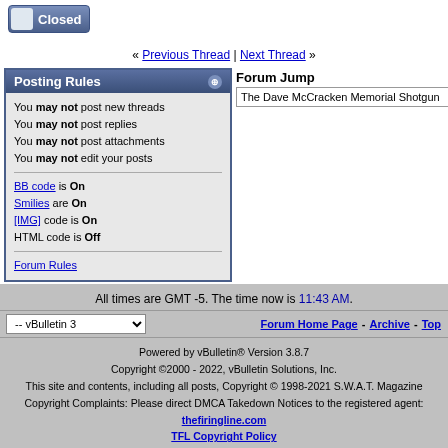[Figure (screenshot): Closed thread button with lock icon and 'Closed' text on blue gradient background]
« Previous Thread | Next Thread »
| Posting Rules |
| --- |
| You may not post new threads |
| You may not post replies |
| You may not post attachments |
| You may not edit your posts |
| BB code is On |
| Smilies are On |
| [IMG] code is On |
| HTML code is Off |
| Forum Rules |
Forum Jump
The Dave McCracken Memorial Shotgun
All times are GMT -5. The time now is 11:43 AM.
-- vBulletin 3   Forum Home Page - Archive - Top
Powered by vBulletin® Version 3.8.7
Copyright ©2000 - 2022, vBulletin Solutions, Inc.
This site and contents, including all posts, Copyright © 1998-2021 S.W.A.T. Magazine
Copyright Complaints: Please direct DMCA Takedown Notices to the registered agent:
thefiringline.com
TFL Copyright Policy
Page generated in 0.04877 seconds with 10 queries